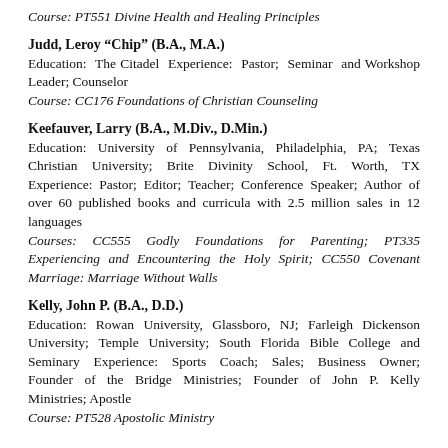Course: PT551 Divine Health and Healing Principles
Judd, Leroy “Chip” (B.A., M.A.)
Education: The Citadel Experience: Pastor; Seminar and Workshop Leader; Counselor
Course: CC176 Foundations of Christian Counseling
Keefauver, Larry (B.A., M.Div., D.Min.)
Education: University of Pennsylvania, Philadelphia, PA; Texas Christian University; Brite Divinity School, Ft. Worth, TX Experience: Pastor; Editor; Teacher; Conference Speaker; Author of over 60 published books and curricula with 2.5 million sales in 12 languages
Courses: CC555 Godly Foundations for Parenting; PT335 Experiencing and Encountering the Holy Spirit; CC550 Covenant Marriage: Marriage Without Walls
Kelly, John P. (B.A., D.D.)
Education: Rowan University, Glassboro, NJ; Farleigh Dickenson University; Temple University; South Florida Bible College and Seminary Experience: Sports Coach; Sales; Business Owner; Founder of the Bridge Ministries; Founder of John P. Kelly Ministries; Apostle
Course: PT528 Apostolic Ministry